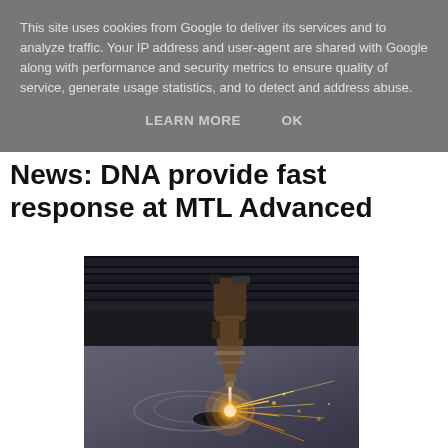This site uses cookies from Google to deliver its services and to analyze traffic. Your IP address and user-agent are shared with Google along with performance and security metrics to ensure quality of service, generate usage statistics, and to detect and address abuse.
LEARN MORE   OK
News: DNA provide fast response at MTL Advanced
[Figure (photo): A laser cutting machine head cutting through a metal plate, with bright sparks and light emission visible at the cutting point. The photo shows a close-up of industrial laser cutting equipment with circular cut marks on the metal surface.]